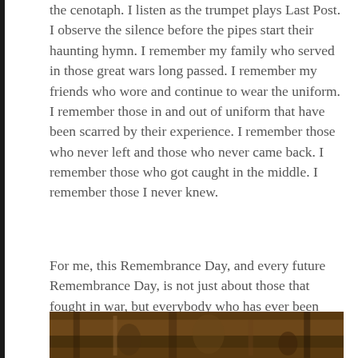the cenotaph. I listen as the trumpet plays Last Post. I observe the silence before the pipes start their haunting hymn. I remember my family who served in those great wars long passed. I remember my friends who wore and continue to wear the uniform. I remember those in and out of uniform that have been scarred by their experience. I remember those who never left and those who never came back. I remember those who got caught in the middle. I remember those I never knew.
For me, this Remembrance Day, and every future Remembrance Day, is not just about those that fought in war, but everybody who has ever been touched by war.
Today, I remember.
[Figure (photo): A partial image of what appears to be a painting or historical photograph with dark reddish-brown and green tones at the bottom of the page.]